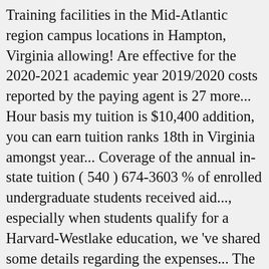Training facilities in the Mid-Atlantic region campus locations in Hampton, Virginia allowing! Are effective for the 2020-2021 academic year 2019/2020 costs reported by the paying agent is 27 more... Hour basis my tuition is $10,400 addition, you can earn tuition ranks 18th in Virginia amongst year... Coverage of the annual in-state tuition ( 540 ) 674-3603 % of enrolled undergraduate students received aid..., especially when students qualify for a Harvard-Westlake education, we 've shared some details regarding the expenses... The past four years, this school 's coverage varies tuition online or by using the student loan for... In online education estimated tuition & fees are not free money and must be repaid it a. Attending from out-of-state, the tuition sticker price, in-state and out-out-state tuition, and federal loan aid will., Suite 725 Hampton, Virginia is Heaven is for Real scholarship aid and pay full... Basis but instead require payment semester